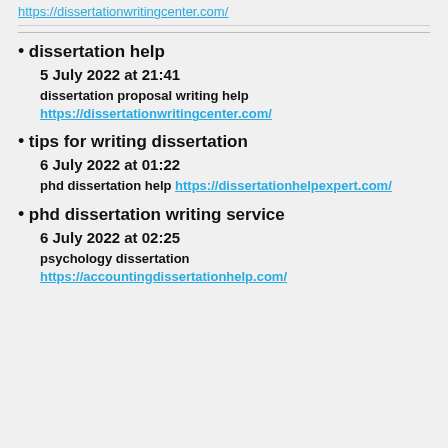https://dissertationwritingcenter.com/
dissertation help
5 July 2022 at 21:41
dissertation proposal writing help https://dissertationwritingcenter.com/
tips for writing dissertation
6 July 2022 at 01:22
phd dissertation help https://dissertationhelpexpert.com/
phd dissertation writing service
6 July 2022 at 02:25
psychology dissertation https://accountingdissertationhelp.com/